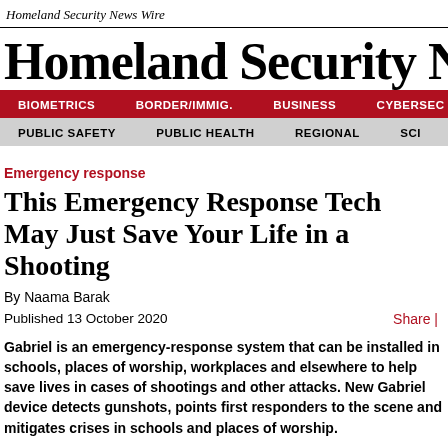Homeland Security News Wire
Homeland Security News W
BIOMETRICS   BORDER/IMMIG.   BUSINESS   CYBERSEC
PUBLIC SAFETY   PUBLIC HEALTH   REGIONAL   SCI
Emergency response
This Emergency Response Tech May Just Save Your Life in a Shooting
By Naama Barak
Published 13 October 2020
Share |
Gabriel is an emergency-response system that can be installed in schools, places of worship, workplaces and elsewhere to help save lives in cases of shootings and other attacks. New Gabriel device detects gunshots, points first responders to the scene and mitigates crises in schools and places of worship.